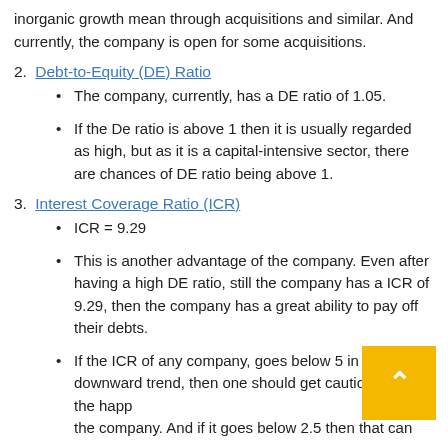inorganic growth mean through acquisitions and similar. And currently, the company is open for some acquisitions.
2. Debt-to-Equity (DE) Ratio
The company, currently, has a DE ratio of 1.05.
If the De ratio is above 1 then it is usually regarded as high, but as it is a capital-intensive sector, there are chances of DE ratio being above 1.
3. Interest Coverage Ratio (ICR)
ICR = 9.29
This is another advantage of the company. Even after having a high DE ratio, still the company has a ICR of 9.29, then the company has a great ability to pay off their debts.
If the ICR of any company, goes below 5 in downward trend, then one should get cautious about the happenings of the company. And if it goes below 2.5 then that can be an alarming sign.
4. Return on Capital Employed (ROCE)
Current ROCE = 20%